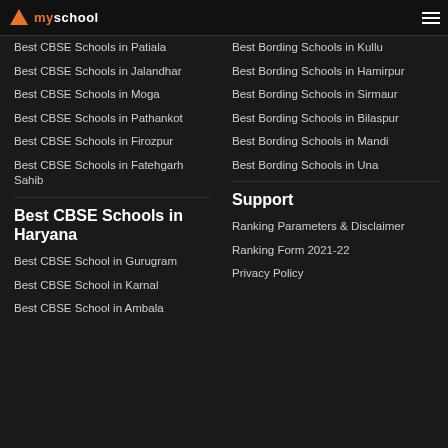myschool
Best CBSE Schools in Patiala
Best CBSE Schools in Jalandhar
Best CBSE Schools in Moga
Best CBSE Schools in Pathankot
Best CBSE Schools in Firozpur
Best CBSE Schools in Fatehgarh Sahib
Best Bording Schools in Kullu
Best Bording Schools in Hamirpur
Best Bording Schools in Sirmaur
Best Bording Schools in Bilaspur
Best Bording Schools in Mandi
Best Bording Schools in Una
Best CBSE Schools in Haryana
Support
Best CBSE School in Gurugram
Best CBSE School in Karnal
Best CBSE School in Ambala
Ranking Parameters & Disclaimer
Ranking Form 2021-22
Privacy Policy